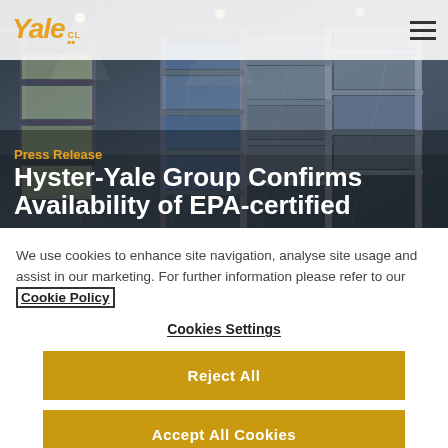Yale CL [logo] — navigation menu
[Figure (photo): Warehouse interior with tall metal shelving racks filled with pallets and goods, industrial setting with overhead lighting]
Press Release
Hyster-Yale Group Confirms Availability of EPA-certified
We use cookies to enhance site navigation, analyse site usage and assist in our marketing. For further information please refer to our Cookie Policy
Cookies Settings
Reject All
Accept All Cookies